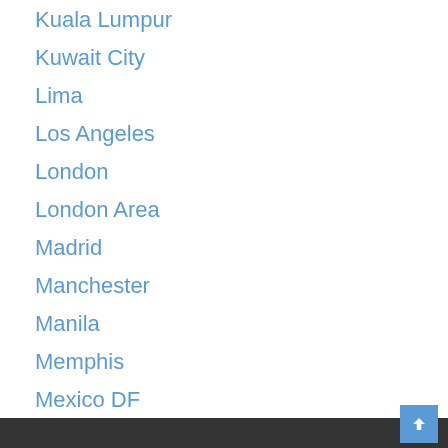Kuala Lumpur
Kuwait City
Lima
Los Angeles
London
London Area
Madrid
Manchester
Manila
Memphis
Mexico DF
Milano
Montevideo